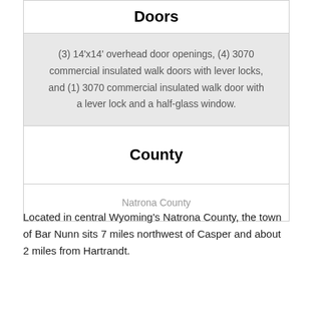Doors
(3) 14'x14' overhead door openings, (4) 3070 commercial insulated walk doors with lever locks, and (1) 3070 commercial insulated walk door with a lever lock and a half-glass window.
County
Natrona County
Located in central Wyoming's Natrona County, the town of Bar Nunn sits 7 miles northwest of Casper and about 2 miles from Hartrandt.